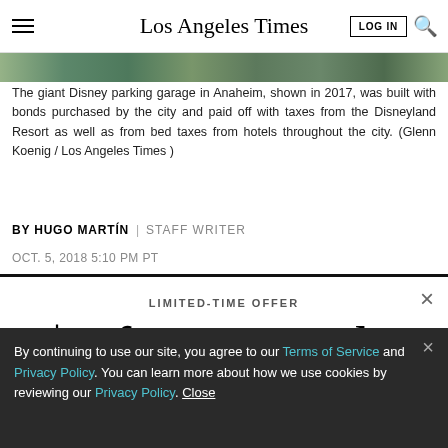Los Angeles Times
[Figure (photo): Partial view of Disney parking garage photo strip]
The giant Disney parking garage in Anaheim, shown in 2017, was built with bonds purchased by the city and paid off with taxes from the Disneyland Resort as well as from bed taxes from hotels throughout the city. (Glenn Koenig / Los Angeles Times )
BY HUGO MARTÍN | STAFF WRITER
OCT. 5, 2018 5:10 PM PT
LIMITED-TIME OFFER
$1 for 6 Months
SUBSCRIBE NOW
By continuing to use our site, you agree to our Terms of Service and Privacy Policy. You can learn more about how we use cookies by reviewing our Privacy Policy. Close